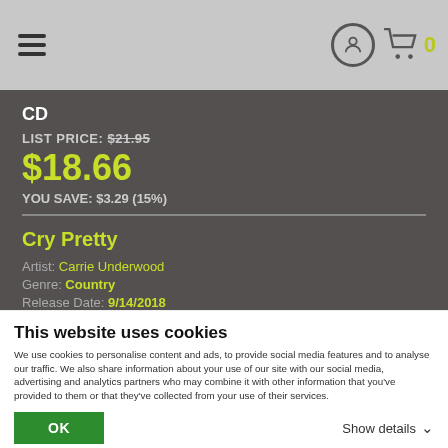Navigation bar with hamburger menu, user icon, cart icon, and cart count 0
CD
LIST PRICE: $21.95
$18.66
YOU SAVE: $3.29 (15%)
Cry Pretty
Artist: Carrie Underwood
Genre: Country
Release Date: 9/14/2018
This website uses cookies
We use cookies to personalise content and ads, to provide social media features and to analyse our traffic. We also share information about your use of our site with our social media, advertising and analytics partners who may combine it with other information that you've provided to them or that they've collected from your use of their services.
OK
Show details